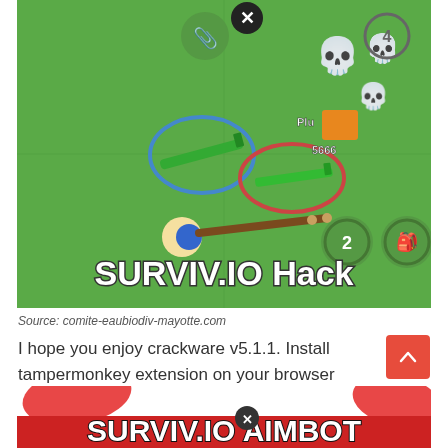[Figure (screenshot): Screenshot of a Surviv.io game hack interface showing game scene with guns, skulls, circular icons, player character, and 'SURVIV.IO Hack' text overlay on green background]
Source: comite-eaubiodiv-mayotte.com
I hope you enjoy crackware v5.1.1. Install tampermonkey extension on your browser (preferably chrome or opera).
[Figure (screenshot): Partial screenshot showing 'SURVIV.IO AIMBOT' text with red and white styling at bottom of page]